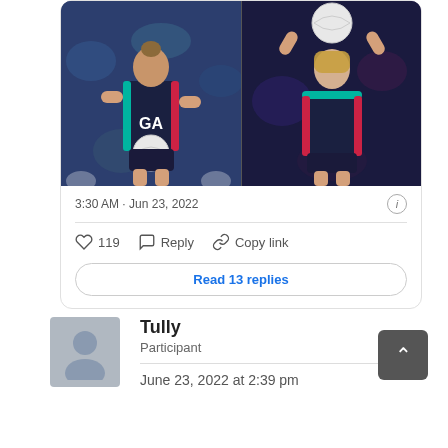[Figure (photo): Two netball players in navy blue and teal uniforms. Left player holds a netball ball with 'GA' on jersey. Right player raises ball overhead to shoot.]
3:30 AM · Jun 23, 2022
119  Reply  Copy link
Read 13 replies
Tully
Participant
June 23, 2022 at 2:39 pm